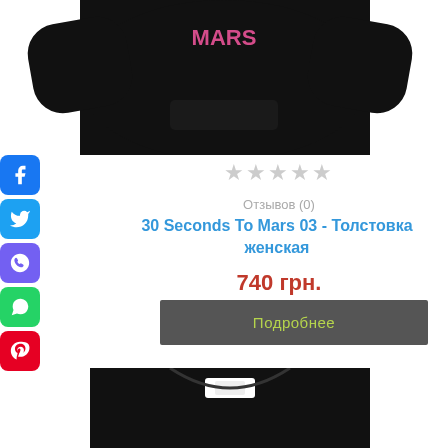[Figure (photo): Black hoodie with MARS text in pink on chest, top portion shown, model with hands in pocket]
[Figure (infographic): Social media share icons: Facebook, Twitter, Viber, WhatsApp, Pinterest]
★★★★★ (0 stars)
Отзывов (0)
30 Seconds To Mars 03 - Толстовка женская
740 грн.
Подробнее
[Figure (photo): Black hoodie partial view from collar down, second product listing]